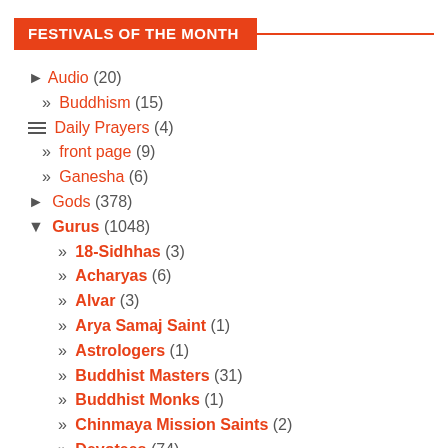FESTIVALS OF THE MONTH
► Audio (20)
» Buddhism (15)
Daily Prayers (4)
» front page (9)
» Ganesha (6)
► Gods (378)
▼ Gurus (1048)
» 18-Sidhhas (3)
» Acharyas (6)
» Alvar (3)
» Arya Samaj Saint (1)
» Astrologers (1)
» Buddhist Masters (31)
» Buddhist Monks (1)
» Chinmaya Mission Saints (2)
» Devotees (74)